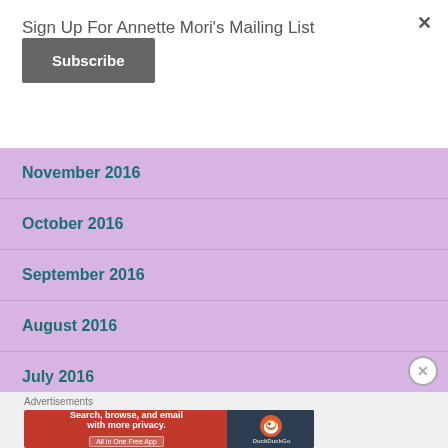Sign Up For Annette Mori's Mailing List
×
Subscribe
November 2016
October 2016
September 2016
August 2016
July 2016
June 2016
Advertisements
[Figure (screenshot): DuckDuckGo advertisement banner: Search, browse, and email with more privacy. All in One Free App.]